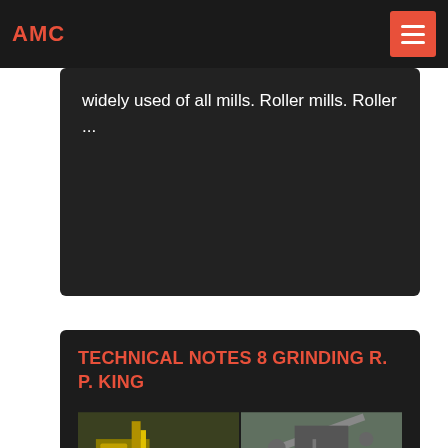AMC
widely used of all mills. Roller mills. Roller ...
TECHNICAL NOTES 8 GRINDING R. P. King
[Figure (photo): Four photos of industrial grinding and crushing mill equipment at mining sites]
2009-7-30 · The geometry of a mill with conical ends is shown in Figure 8.6. The total volume inside the mill